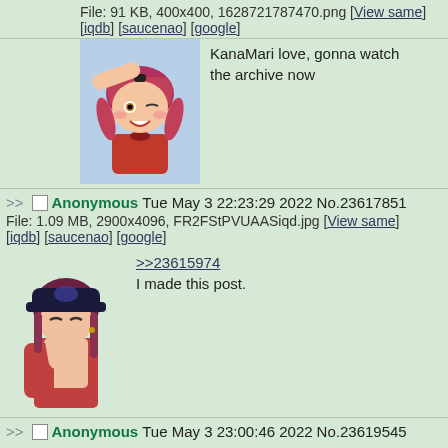File: 91 KB, 400x400, 1628721787470.png [View same] [iqdb] [saucenao] [google]
[Figure (illustration): Anime chibi girl with pink/red twin tails, one eye open, winking, wearing red outfit, light blue background]
KanaMari love, gonna watch the archive now
>> Anonymous Tue May 3 22:23:29 2022 No.23617851
File: 1.09 MB, 2900x4096, FR2FStPVUAASiqd.jpg [View same] [iqdb] [saucenao] [google]
[Figure (illustration): Anime girl with red/purple hair, wearing a cap, partially covering face, showing chest]
>>23615974
I made this post.
>> Anonymous Tue May 3 23:00:46 2022 No.23619545
Yohohoho
>> Anonymous Tue May 3 23:36:12 2022 No.23621240